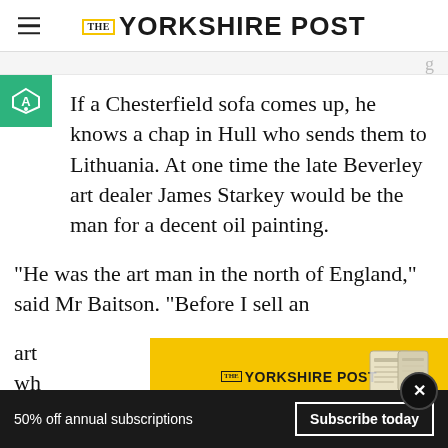The Yorkshire Post
If a Chesterfield sofa comes up, he knows a chap in Hull who sends them to Lithuania. At one time the late Beverley art dealer James Starkey would be the man for a decent oil painting.
"He was the art man in the north of England," said Mr Baitson. "Before I sell an art [...]w wh[...]
[Figure (screenshot): Yorkshire Post subscription advertisement banner with yellow background showing 'Subscribe today' button and newspaper device images]
50% off annual subscriptions   Subscribe today